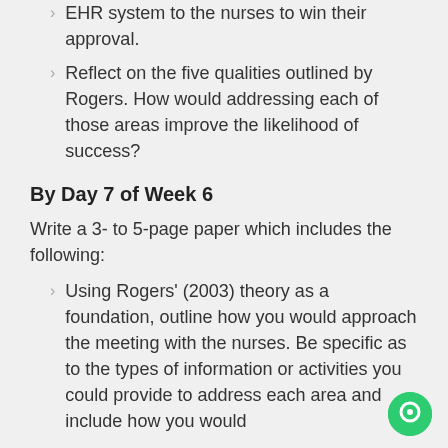EHR system to the nurses to win their approval.
Reflect on the five qualities outlined by Rogers. How would addressing each of those areas improve the likelihood of success?
By Day 7 of Week 6
Write a 3- to 5-page paper which includes the following:
Using Rogers' (2003) theory as a foundation, outline how you would approach the meeting with the nurses. Be specific as to the types of information or activities you could provide to address each area and include how you would